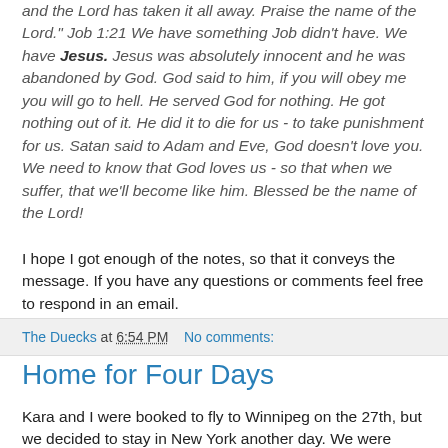and the Lord has taken it all away. Praise the name of the Lord." Job 1:21 We have something Job didn't have. We have Jesus. Jesus was absolutely innocent and he was abandoned by God. God said to him, if you will obey me you will go to hell. He served God for nothing. He got nothing out of it. He did it to die for us - to take punishment for us. Satan said to Adam and Eve, God doesn't love you. We need to know that God loves us - so that when we suffer, that we'll become like him. Blessed be the name of the Lord!
I hope I got enough of the notes, so that it conveys the message. If you have any questions or comments feel free to respond in an email.
The Duecks at 6:54 PM   No comments:
Home for Four Days
Kara and I were booked to fly to Winnipeg on the 27th, but we decided to stay in New York another day. We were flying